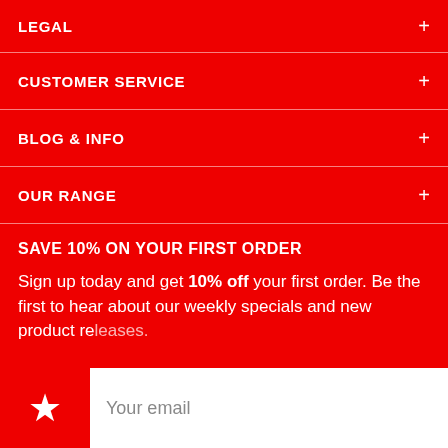LEGAL
CUSTOMER SERVICE
BLOG & INFO
OUR RANGE
SAVE 10% ON YOUR FIRST ORDER
Sign up today and get 10% off your first order. Be the first to hear about our weekly specials and new product releases.